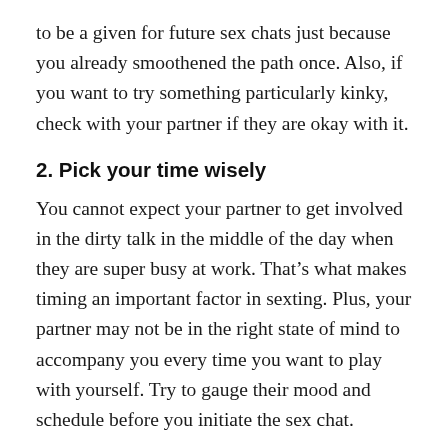to be a given for future sex chats just because you already smoothened the path once. Also, if you want to try something particularly kinky, check with your partner if they are okay with it.
2. Pick your time wisely
You cannot expect your partner to get involved in the dirty talk in the middle of the day when they are super busy at work. That’s what makes timing an important factor in sexting. Plus, your partner may not be in the right state of mind to accompany you every time you want to play with yourself. Try to gauge their mood and schedule before you initiate the sex chat.